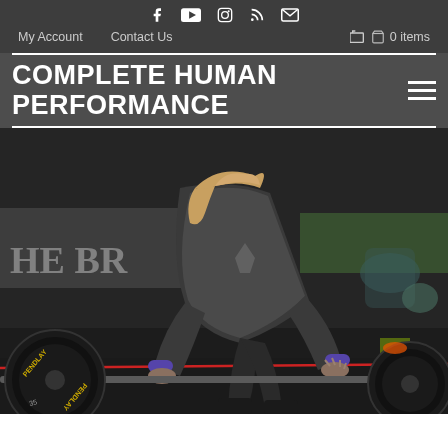Social icons: Facebook, YouTube, Instagram, RSS, Email
My Account   Contact Us   🛒 0 items
COMPLETE HUMAN PERFORMANCE
[Figure (photo): Athlete in dark athletic wear bending over a Pendlay barbell loaded with weight plates, preparing to lift in a competition setting with other athletes and crowd in background.]